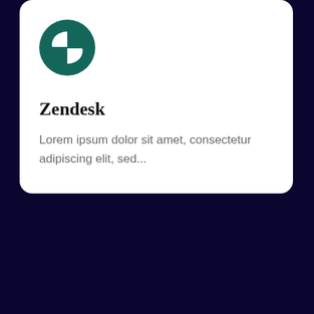[Figure (logo): Zendesk logo: white Z-like icon on dark teal circular background]
Zendesk
Lorem ipsum dolor sit amet, consectetur adipiscing elit, sed...